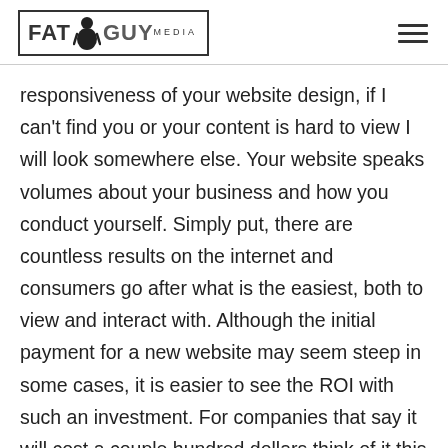FAT GUY MEDIA
responsiveness of your website design, if I can't find you or your content is hard to view I will look somewhere else. Your website speaks volumes about your business and how you conduct yourself. Simply put, there are countless results on the internet and consumers go after what is the easiest, both to view and interact with. Although the initial payment for a new website may seem steep in some cases, it is easier to see the ROI with such an investment. For companies that say it will cost a couple hundred dollars think of it this investment like…